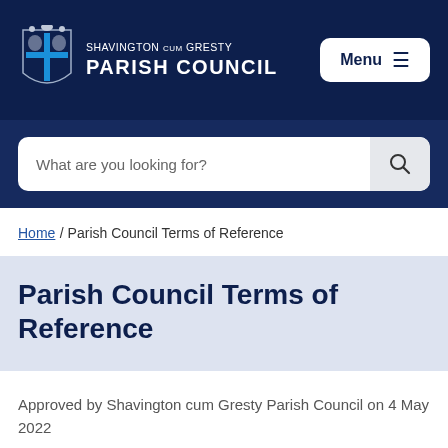SHAVINGTON cum GRESTY PARISH COUNCIL
What are you looking for?
Home / Parish Council Terms of Reference
Parish Council Terms of Reference
Approved by Shavington cum Gresty Parish Council on 4 May 2022